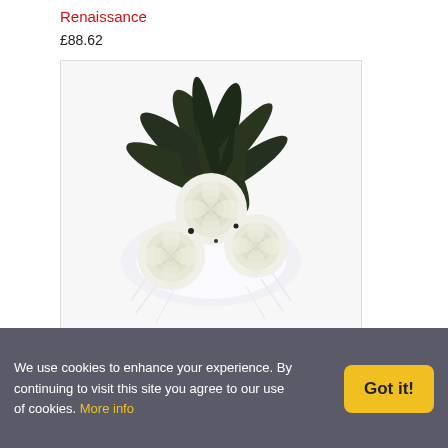Renaissance
£88.62
[Figure (photo): White rose bouquet with dark green foliage and white feathery accents on white background — Snow Princess floral arrangement]
Snow Princess
£46.92
[Figure (photo): Partial view of another floral arrangement at the bottom of the page]
We use cookies to enhance your experience. By continuing to visit this site you agree to our use of cookies. More info